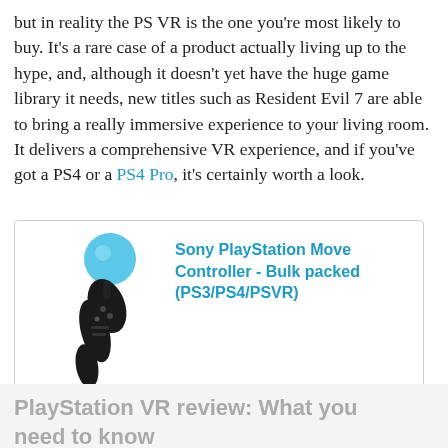but in reality the PS VR is the one you're most likely to buy. It's a rare case of a product actually living up to the hype, and, although it doesn't yet have the huge game library it needs, new titles such as Resident Evil 7 are able to bring a really immersive experience to your living room. It delivers a comprehensive VR experience, and if you've got a PS4 or a PS4 Pro, it's certainly worth a look.
[Figure (other): Product card for Sony PlayStation Move Controller - Bulk packed (PS3/PS4/PSVR). Shows controller image, price £69.99, Buy now button, and amazon.co.uk logo.]
PlayStation VR review: What you need to know